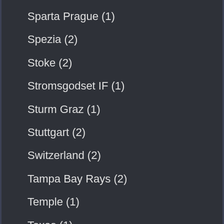Sparta Prague (1)
Spezia (2)
Stoke (2)
Stromsgodset IF (1)
Sturm Graz (1)
Stuttgart (2)
Switzerland (2)
Tampa Bay Rays (2)
Temple (1)
Texas (1)
The New Saints (2)
Torino (5)
Toronto Blue Jays (3)